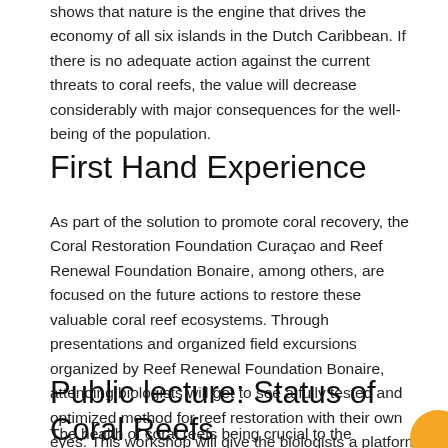shows that nature is the engine that drives the economy of all six islands in the Dutch Caribbean. If there is no adequate action against the current threats to coral reefs, the value will decrease considerably with major consequences for the well-being of the population.
First Hand Experience
As part of the solution to promote coral recovery, the Coral Restoration Foundation Curaçao and Reef Renewal Foundation Bonaire, among others, are focused on the future actions to restore these valuable coral reef ecosystems. Through presentations and organized field excursions organized by Reef Renewal Foundation Bonaire, attending biologists will get to see a fully tested and optimized method for reef restoration with their own eyes. This workshop will give the biologists a platform to exchange knowledge and experience about the different coral restoration programs and techniques on the Dutch Caribbean islands.
Public lecture: Status of Coral Reefs
The health of coral reefs being crucial to the sustainable prosperity of the islands in the longest regions on the surface attention. For